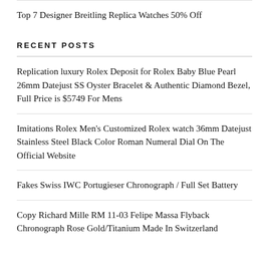Top 7 Designer Breitling Replica Watches 50% Off
RECENT POSTS
Replication luxury Rolex Deposit for Rolex Baby Blue Pearl 26mm Datejust SS Oyster Bracelet & Authentic Diamond Bezel, Full Price is $5749 For Mens
Imitations Rolex Men's Customized Rolex watch 36mm Datejust Stainless Steel Black Color Roman Numeral Dial On The Official Website
Fakes Swiss IWC Portugieser Chronograph / Full Set Battery
Copy Richard Mille RM 11-03 Felipe Massa Flyback Chronograph Rose Gold/Titanium Made In Switzerland